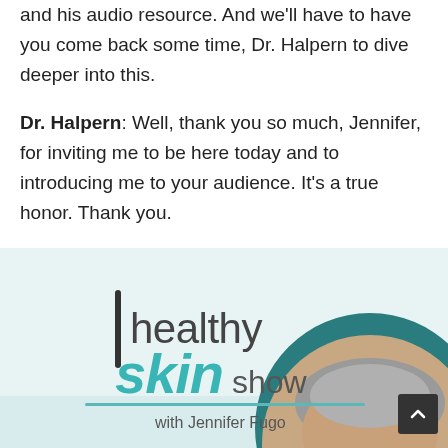and his audio resource. And we'll have to have you come back some time, Dr. Halpern to dive deeper into this.
Dr. Halpern: Well, thank you so much, Jennifer, for inviting me to be here today and to introducing me to your audience. It's a true honor. Thank you.
[Figure (logo): Healthy Skin Show podcast logo with 'healthy skin show' text in teal/dark teal and 'with Jennifer Fugo' text, and a photo of Dr. Halpern (older man with gray hair) in a circular crop on a light blue background.]